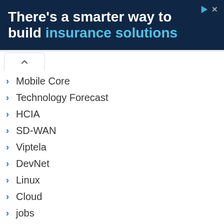[Figure (screenshot): Advertisement banner with dark navy background. Text reads: There's a smarter way to build insurance solutions, with 'insurance solutions' in light blue.]
Mobile Core
Technology Forecast
HCIA
SD-WAN
Viptela
DevNet
Linux
Cloud
jobs
Python
Career
How to